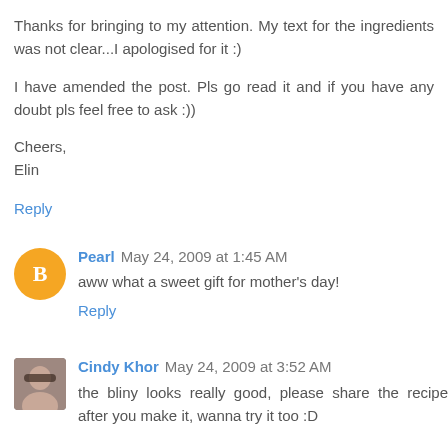Thanks for bringing to my attention. My text for the ingredients was not clear...I apologised for it :)

I have amended the post. Pls go read it and if you have any doubt pls feel free to ask :))

Cheers,
Elin
Reply
Pearl  May 24, 2009 at 1:45 AM
aww what a sweet gift for mother's day!
Reply
Cindy Khor  May 24, 2009 at 3:52 AM
the bliny looks really good, please share the recipe after you make it, wanna try it too :D